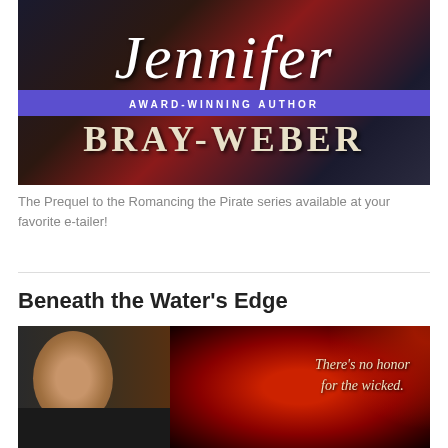[Figure (illustration): Book author banner for Jennifer Bray-Weber showing romantic/pirate themed imagery with a man in dark coat and woman in white lace, purple bar reading AWARD-WINNING AUTHOR, and bold serif text BRAY-WEBER]
The Prequel to the Romancing the Pirate series available at your favorite e-tailer!
Beneath the Water's Edge
[Figure (illustration): Book cover for Beneath the Water's Edge showing a man in pirate attire against a dramatic red background with feathers, tagline reads: There's no honor for the wicked.]